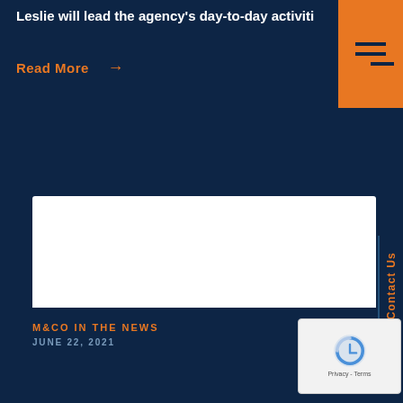Leslie will lead the agency's day-to-day activiti
Read More →
[Figure (logo): O'Dwyer's Communications/Marketing News logo — blue bold serif wordmark with orange apostrophe, subtitle in dark condensed sans-serif]
Contact Us
M&CO IN THE NEWS
JUNE 22, 2021